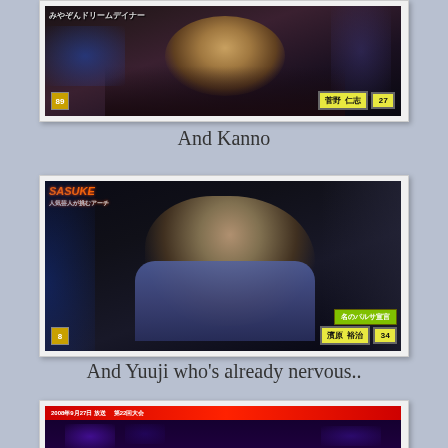[Figure (photo): TV screenshot of a smiling young Japanese man at a nighttime outdoor event, with a name bar showing Japanese characters and the number 27]
And Kanno
[Figure (photo): TV screenshot of a serious-looking Japanese man in a grey t-shirt at a nighttime outdoor event, with a name bar showing Japanese characters and the number 34]
And Yuuji who's already nervous..
[Figure (photo): Partial TV screenshot showing a stage/arena setup at night with Japanese text overlay at the top]